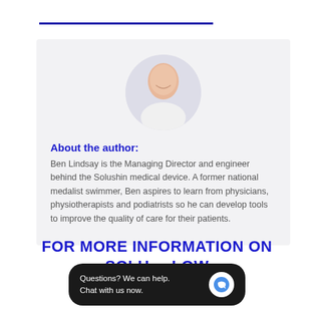[Figure (photo): Circular portrait photo of Ben Lindsay, a bald man wearing a white shirt, smiling, set against a light background inside a rounded rectangle card.]
About the author:
Ben Lindsay is the Managing Director and engineer behind the Solushin medical device. A former national medalist swimmer, Ben aspires to learn from physicians, physiotherapists and podiatrists so he can develop tools to improve the quality of care for their patients.
FOR MORE INFORMATION ON SOLUSHIN, FOLLOW THE LINK BELOW
[Figure (screenshot): Chat popup overlay: dark rounded rectangle with text 'Questions? We can help. Chat with us now.' and a circular chat icon button on the right.]